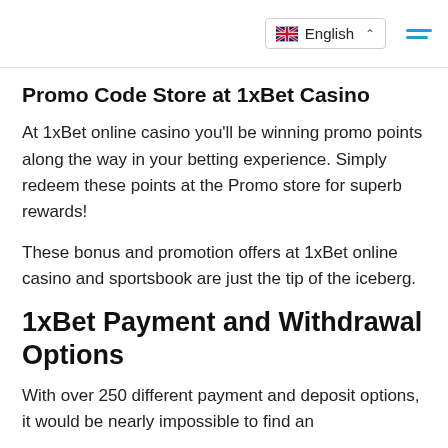English
Promo Code Store at 1xBet Casino
At 1xBet online casino you'll be winning promo points along the way in your betting experience. Simply redeem these points at the Promo store for superb rewards!
These bonus and promotion offers at 1xBet online casino and sportsbook are just the tip of the iceberg.
1xBet Payment and Withdrawal Options
With over 250 different payment and deposit options, it would be nearly impossible to find an